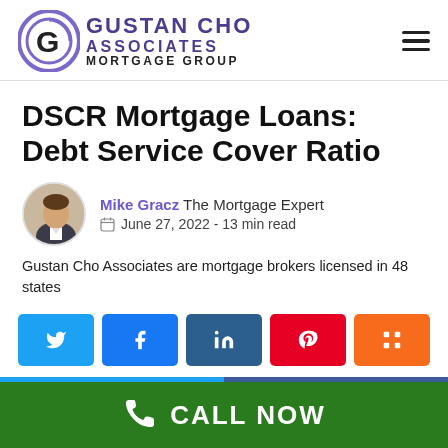Gustan Cho Associates Mortgage Group
DSCR Mortgage Loans: Debt Service Cover Ratio
Mike Gracz The Mortgage Expert
June 27, 2022 - 13 min read
Gustan Cho Associates are mortgage brokers licensed in 48 states
[Figure (other): Social share buttons: Twitter, Facebook, LinkedIn, Pinterest, Mix]
CALL NOW